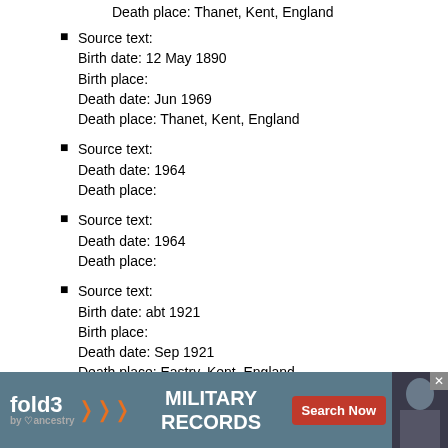Death place: Thanet, Kent, England
Source text:
Birth date: 12 May 1890
Birth place:
Death date: Jun 1969
Death place: Thanet, Kent, England
Source text:
Death date: 1964
Death place:
Source text:
Death date: 1964
Death place:
Source text:
Birth date: abt 1921
Birth place:
Death date: Sep 1921
Death place: Eastry, Kent, England
Source text:
Birth date: abt 1921
Birth place:
Death date: Sep 1921
Death place: Eastry, Kent, England
[Figure (infographic): fold3 by ancestry military records advertisement banner with Search Now button]